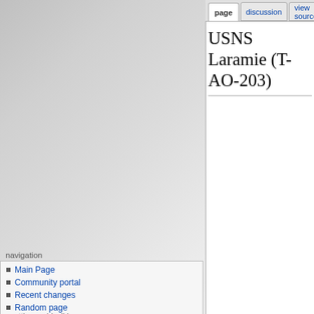log in
page | discussion | view source | history
USNS Laramie (T-AO-203)
navigation
Main Page
Community portal
Recent changes
Random page
Help
spottingworld wikis
PlaneSpottingWorld
TrainSpottingWorld
SpottingWorld
search
| Career (USA) |  |
| --- | --- |
| 300px |  |
| USNS Laramie (T-AO-203) |  |
| Name: | USNS Laramie |
| Namesake: | The Laramie River in Colorado and Wyoming |
| Ordered: | 24 March 1989 |
| Builder: | Avondale Shipyard, Inc., New Orleans, Louisiana |
| Laid down: | 10 January 1994 |
tools